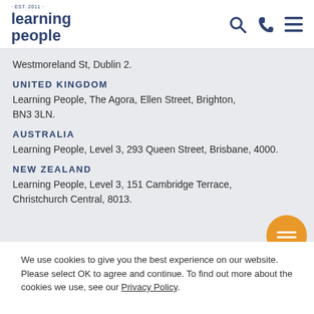[Figure (logo): Learning People logo with EST 2011 text above, dark navy blue text]
Westmoreland St, Dublin 2.
UNITED KINGDOM
Learning People, The Agora, Ellen Street, Brighton, BN3 3LN.
AUSTRALIA
Learning People, Level 3, 293 Queen Street, Brisbane, 4000.
NEW ZEALAND
Learning People, Level 3, 151 Cambridge Terrace, Christchurch Central, 8013.
We use cookies to give you the best experience on our website. Please select OK to agree and continue. To find out more about the cookies we use, see our Privacy Policy.